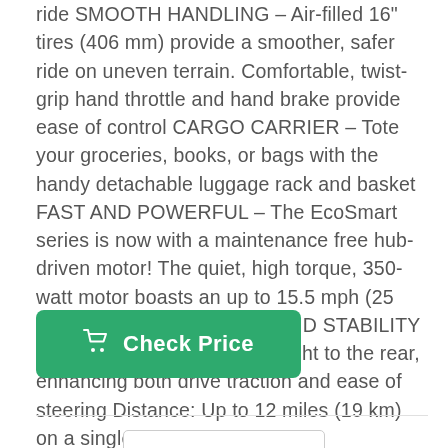ride SMOOTH HANDLING – Air-filled 16" tires (406 mm) provide a smoother, safer ride on uneven terrain. Comfortable, twist-grip hand throttle and hand brake provide ease of control CARGO CARRIER – Tote your groceries, books, or bags with the handy detachable luggage rack and basket FAST AND POWERFUL – The EcoSmart series is now with a maintenance free hub-driven motor! The quiet, high torque, 350-watt motor boasts an up to 15.5 mph (25 km/h) max speed SAFETY AND STABILITY – Rear-wheel drive shifts weight to the rear, enhancing both drive traction and ease of steering Distance: Up to 12 miles (19 km) on a single charge
[Figure (other): Green 'Check Price' button with shopping cart icon]